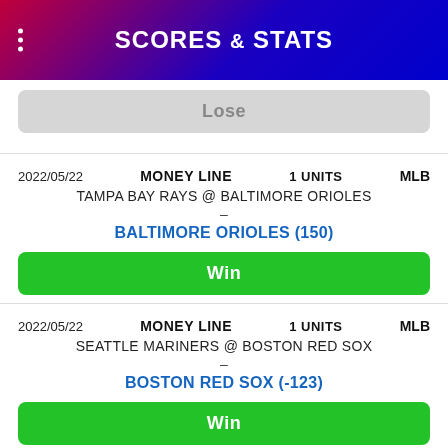SCORES & STATS
Lose
2022/05/22   MONEY LINE   1 UNITS   MLB
TAMPA BAY RAYS @ BALTIMORE ORIOLES
-
BALTIMORE ORIOLES (150)
Win
2022/05/22   MONEY LINE   1 UNITS   MLB
SEATTLE MARINERS @ BOSTON RED SOX
-
BOSTON RED SOX (-123)
Win